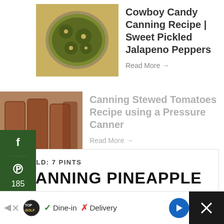[Figure (photo): Bowl of pickled jalapeño peppers (cowboy candy) in yellow brine]
Cowboy Candy Canning Recipe | Sweet Pickled Jalapeno Peppers
Read More →
[Figure (photo): Jars of stewed tomatoes with a food-muted reddish color]
Canning Stewed Tomatoes Recipe using a Pressure Canner
Read More →
YIELD: 7 PINTS
CANNING PINEAPPLE
[Figure (screenshot): Ad banner: TopGolf Dine-in / Delivery advertisement with navigation and close buttons]